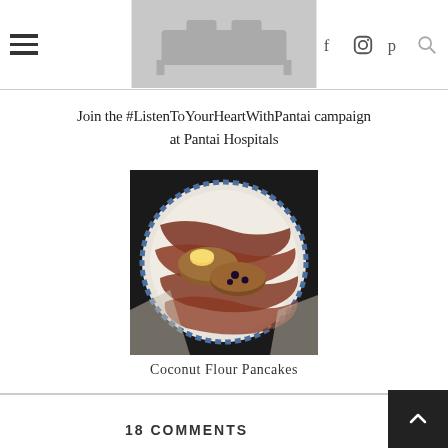Navigation header with hamburger menu, blog logo image, and social icons (Facebook, Instagram, Pinterest, Search)
Join the #ListenToYourHeartWithPantai campaign at Pantai Hospitals
[Figure (photo): Overhead view of a plate with coconut flour pancakes, bacon strips, and a pat of butter on a decorative blue-rimmed plate]
Coconut Flour Pancakes
18 COMMENTS